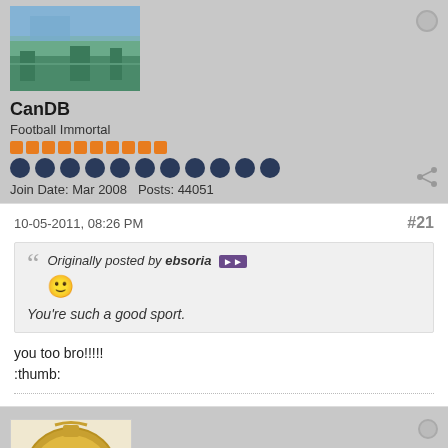[Figure (photo): Avatar image showing landscape/aerial view]
CanDB
Football Immortal
Join Date: Mar 2008    Posts: 44051
10-05-2011, 08:26 PM
#21
Originally posted by ebsoria
:)
You're such a good sport.
you too bro!!!!!
:thumb:
[Figure (photo): Super Bowl 50 logo avatar image]